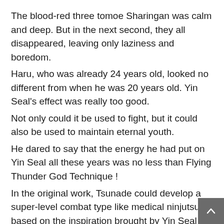The blood-red three tomoe Sharingan was calm and deep. But in the next second, they all disappeared, leaving only laziness and boredom.
Haru, who was already 24 years old, looked no different from when he was 20 years old. Yin Seal's effect was really too good.
Not only could it be used to fight, but it could also be used to maintain eternal youth.
He dared to say that the energy he had put on Yin Seal all these years was no less than Flying Thunder God Technique !
In the original work, Tsunade could develop a super-level combat type like medical ninjutsu based on the inspiration brought by Yin Seal and his grandfather Hashirama's self-healing ability. It was unreasonable that he, a